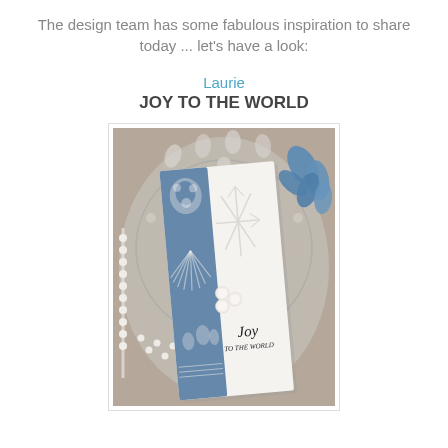The design team has some fabulous inspiration to share today ... let's have a look:
Laurie
JOY TO THE WORLD
[Figure (photo): A handmade Christmas card with blue and white die-cut design featuring 'Joy to the World' sentiment, snowflake embossing, decorative lace doily background, pearl beads, and blue glitter leaves.]